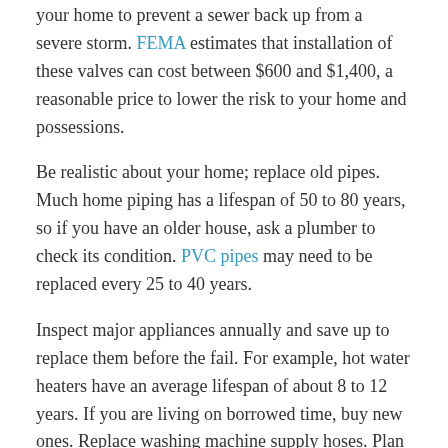your home to prevent a sewer back up from a severe storm. FEMA estimates that installation of these valves can cost between $600 and $1,400, a reasonable price to lower the risk to your home and possessions.
Be realistic about your home; replace old pipes. Much home piping has a lifespan of 50 to 80 years, so if you have an older house, ask a plumber to check its condition. PVC pipes may need to be replaced every 25 to 40 years.
Inspect major appliances annually and save up to replace them before the fail. For example, hot water heaters have an average lifespan of about 8 to 12 years. If you are living on borrowed time, buy new ones. Replace washing machine supply hoses. Plan for new ones every three to five years as part of a proactive maintenance plan.
Water Damage Cleanup